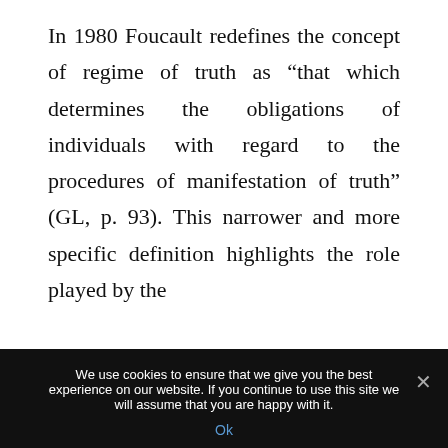In 1980 Foucault redefines the concept of regime of truth as “that which determines the obligations of individuals with regard to the procedures of manifestation of truth” (GL, p. 93). This narrower and more specific definition highlights the role played by the
We use cookies to ensure that we give you the best experience on our website. If you continue to use this site we will assume that you are happy with it.